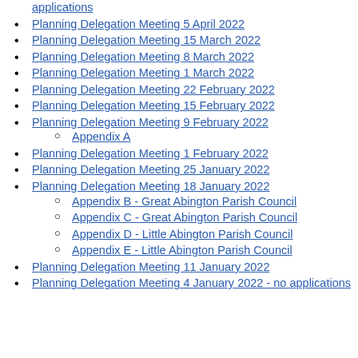applications (link, truncated top)
Planning Delegation Meeting 5 April 2022
Planning Delegation Meeting 15 March 2022
Planning Delegation Meeting 8 March 2022
Planning Delegation Meeting 1 March 2022
Planning Delegation Meeting 22 February 2022
Planning Delegation Meeting 15 February 2022
Planning Delegation Meeting 9 February 2022
Appendix A (sub-item)
Planning Delegation Meeting 1 February 2022
Planning Delegation Meeting 25 January 2022
Planning Delegation Meeting 18 January 2022
Appendix B - Great Abington Parish Council (sub-item)
Appendix C - Great Abington Parish Council (sub-item)
Appendix D - Little Abington Parish Council (sub-item)
Appendix E - Little Abington Parish Council (sub-item)
Planning Delegation Meeting 11 January 2022
Planning Delegation Meeting 4 January 2022 - no applications